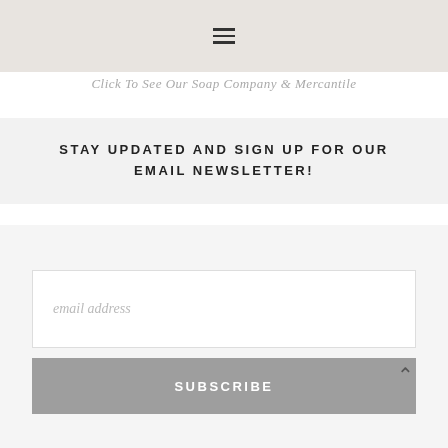[Figure (screenshot): Top portion of a website showing a product image with a hamburger menu icon overlay]
Click To See Our Soap Company & Mercantile
STAY UPDATED AND SIGN UP FOR OUR EMAIL NEWSLETTER!
email address
SUBSCRIBE